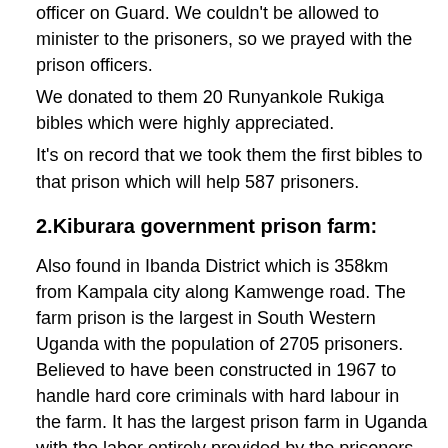officer on Guard. We couldn't be allowed to minister to the prisoners, so we prayed with the prison officers. We donated to them 20 Runyankole Rukiga bibles which were highly appreciated. It's on record that we took them the first bibles to that prison which will help 587 prisoners.
2.Kiburara government prison farm:
Also found in Ibanda District which is 358km from Kampala city along Kamwenge road. The farm prison is the largest in South Western Uganda with the population of 2705 prisoners. Believed to have been constructed in 1967 to handle hard core criminals with hard labour in the farm. It has the largest prison farm in Uganda with the labor entirely provided by the prisoners. It has more than 600acres of maize which is the main source of food in all